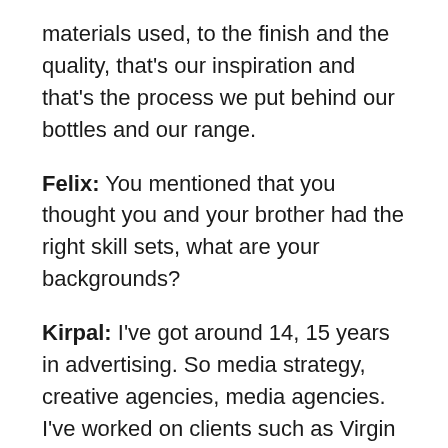materials used, to the finish and the quality, that's our inspiration and that's the process we put behind our bottles and our range.
Felix: You mentioned that you thought you and your brother had the right skill sets, what are your backgrounds?
Kirpal: I've got around 14, 15 years in advertising. So media strategy, creative agencies, media agencies. I've worked on clients such as Virgin Media, Barclays Bank, Hendricks Gin, Sailor Jerry's Rum, and quite a lot of the big tier brands, so it would be a case of understanding. We would get a brief in order